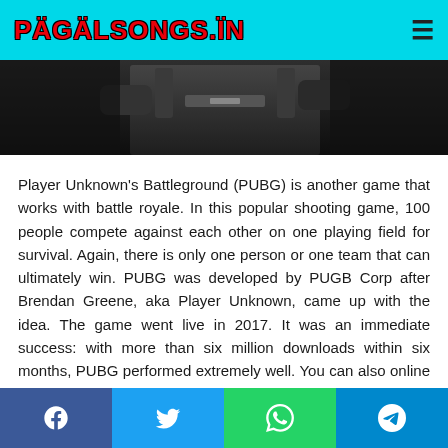PÄGÄLSONGS.ÏN
[Figure (photo): Dark game screenshot showing a character from PUBG, cropped to show the torso area with equipment/weapons, dark background]
Player Unknown's Battleground (PUBG) is another game that works with battle royale. In this popular shooting game, 100 people compete against each other on one playing field for survival. Again, there is only one person or one team that can ultimately win. PUBG was developed by PUGB Corp after Brendan Greene, aka Player Unknown, came up with the idea. The game went live in 2017. It was an immediate success: with more than six million downloads within six months, PUBG performed extremely well. You can also online games at mega888.
Facebook Twitter WhatsApp Telegram